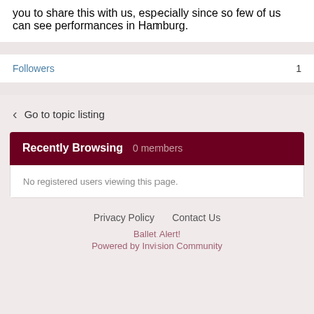you to share this with us, especially since so few of us can see performances in Hamburg.
Followers 1
Go to topic listing
Recently Browsing 0 members
No registered users viewing this page.
Privacy Policy   Contact Us
Ballet Alert!
Powered by Invision Community